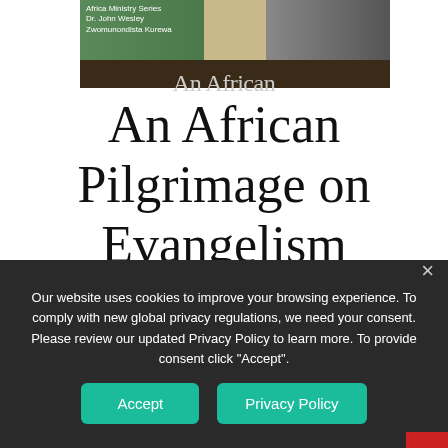[Figure (photo): Book cover image for 'An African Pilgrimage on Evangelism' by Dr. John Wesley Zwomunondista Kurewa, Africa Ministry Series, with dark bar across the bottom of the image.]
An African Pilgrimage on Evangelism
NEW EVERY MORNING | OCTOBER 15, 2019
0 Comments | Join the Conversation.
Our website uses cookies to improve your browsing experience. To comply with new global privacy regulations, we need your consent. Please review our updated Privacy Policy to learn more. To provide consent click "Accept".
Accept
Privacy Policy